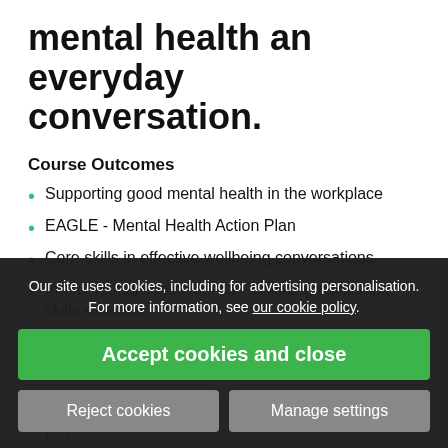mental health an everyday conversation.
Course Outcomes
Supporting good mental health in the workplace
EAGLE - Mental Health Action Plan
Core skills in effective wellbeing conversations
Interpersonal effectiveness - including a listening skills exercise
Balancing change and acceptance
Distress Tolerance
Wo[rkplace...]
Emo[tional...]
Solution focused techniques
Stre[ss...]
The law on mental health in the workplace
Our site uses cookies, including for advertising personalisation. For more information, see our cookie policy.